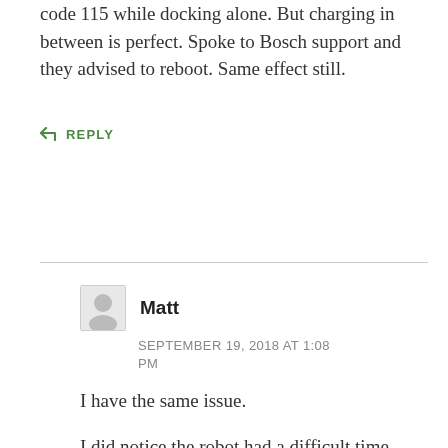code 115 while docking alone. But charging in between is perfect. Spoke to Bosch support and they advised to reboot. Same effect still.
↪ REPLY
Matt
SEPTEMBER 19, 2018 AT 1:08 PM
I have the same issue.
I did notice the robot had a difficult time docking because the charging pins seemed